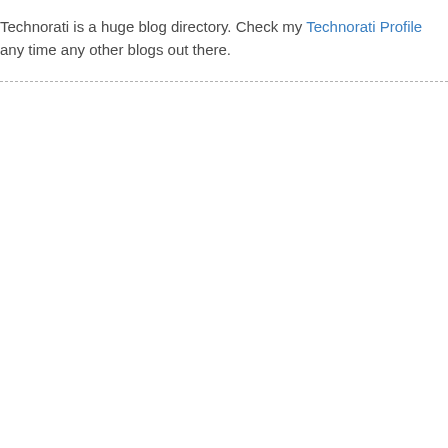Technorati is a huge blog directory. Check my Technorati Profile any time any other blogs out there.